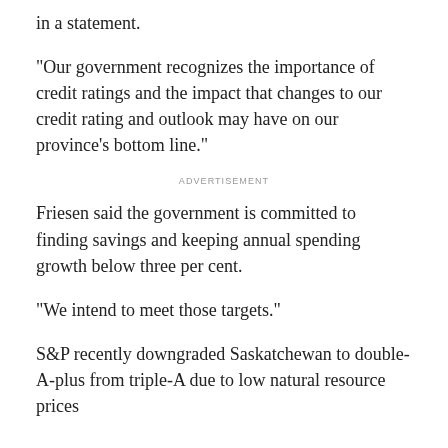in a statement.
"Our government recognizes the importance of credit ratings and the impact that changes to our credit rating and outlook may have on our province's bottom line."
ADVERTISEMENT
Friesen said the government is committed to finding savings and keeping annual spending growth below three per cent.
"We intend to meet those targets."
S&P recently downgraded Saskatchewan to double-A-plus from triple-A due to low natural resource prices